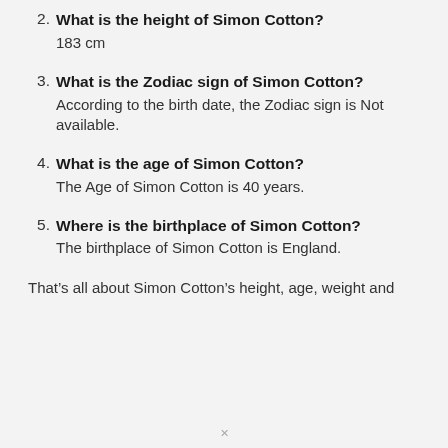2. What is the height of Simon Cotton?
183 cm
3. What is the Zodiac sign of Simon Cotton?
According to the birth date, the Zodiac sign is Not available.
4. What is the age of Simon Cotton?
The Age of Simon Cotton is 40 years.
5. Where is the birthplace of Simon Cotton?
The birthplace of Simon Cotton is England.
That’s all about Simon Cotton’s height, age, weight and